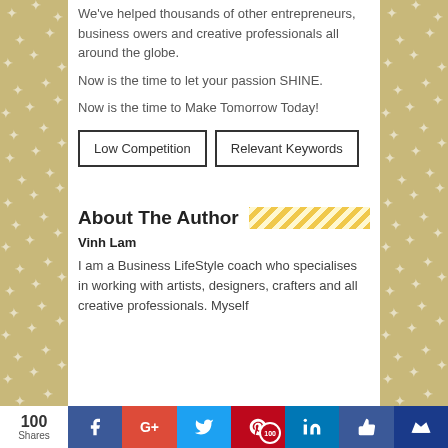We've helped thousands of other entrepreneurs, business owers and creative professionals all around the globe.
Now is the time to let your passion SHINE.
Now is the time to Make Tomorrow Today!
[Figure (infographic): Two rectangular button labels: 'Low Competition' and 'Relevant Keywords']
About The Author
Vinh Lam
I am a Business LifeStyle coach who specialises in working with artists, designers, crafters and all creative professionals. Myself
100 Shares | Facebook | Google+ | Twitter | Pinterest 100 | LinkedIn | Like | Crown